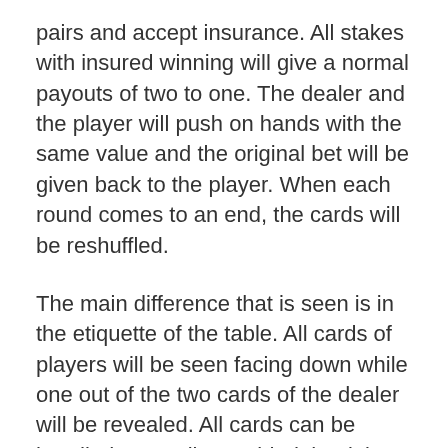pairs and accept insurance. All stakes with insured winning will give a normal payouts of two to one. The dealer and the player will push on hands with the same value and the original bet will be given back to the player. When each round comes to an end, the cards will be reshuffled.
The main difference that is seen is in the etiquette of the table. All cards of players will be seen facing down while one out of the two cards of the dealer will be revealed. All cards can be handled manually provided that it is done with only a hand and they remain on the table.
This point is the point where the rules tend to change. The rules guiding single deck blackjack variant has been amended by several land-based casinos to have a detrimental effect on the house